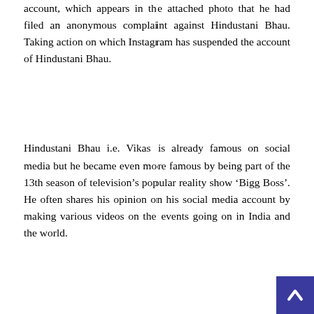account, which appears in the attached photo that he had filed an anonymous complaint against Hindustani Bhau. Taking action on which Instagram has suspended the account of Hindustani Bhau.
Hindustani Bhau i.e. Vikas is already famous on social media but he became even more famous by being part of the 13th season of television’s popular reality show ‘Bigg Boss’. He often shares his opinion on his social media account by making various videos on the events going on in India and the world.
On a video shared by him, Puneet Sharma has anonymously filed a complaint rate and suspended Vikas’s account in Instagram. While informing about this, Puneet has written on his Facebook, ‘Tomorrow will come and the buds of the rivers will be chosen, those who speak better than me are better listeners